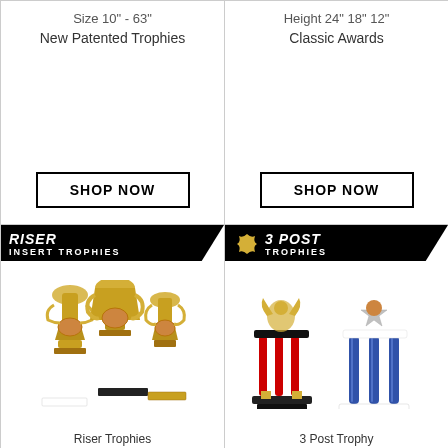Size 10" - 63"
New Patented Trophies
SHOP NOW
Height 24" 18" 12"
Classic Awards
SHOP NOW
[Figure (photo): Riser Insert Trophies product photo showing three gold trophies with angel figurines and insert medallions, with black banner reading 'RISER INSERT TROPHIES']
Riser Trophies
[Figure (photo): 3 Post Trophies product photo showing two large column trophies in red and blue, with black banner reading '3 POST TROPHIES']
3 Post Trophy